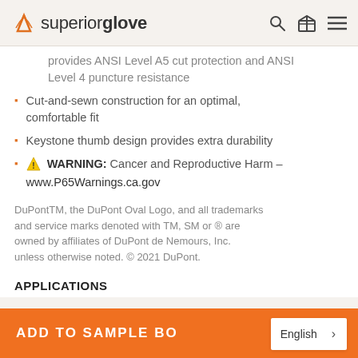Superior Glove
provides ANSI Level A5 cut protection and ANSI Level 4 puncture resistance
Cut-and-sewn construction for an optimal, comfortable fit
Keystone thumb design provides extra durability
WARNING: Cancer and Reproductive Harm – www.P65Warnings.ca.gov
DuPontTM, the DuPont Oval Logo, and all trademarks and service marks denoted with TM, SM or ® are owned by affiliates of DuPont de Nemours, Inc. unless otherwise noted. © 2021 DuPont.
APPLICATIONS
ADD TO SAMPLE BO